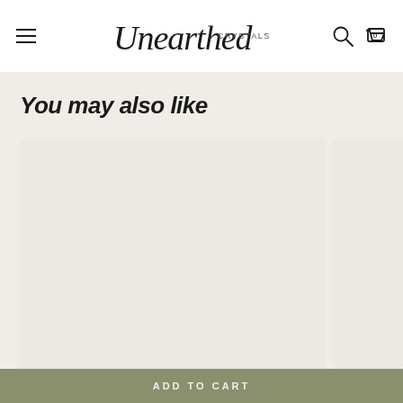Unearthed Crystals
You may also like
[Figure (photo): Product image placeholder - light beige/cream colored square, main product card]
[Figure (photo): Product image placeholder - light beige/cream colored square, secondary product card partially visible]
ADD TO CART